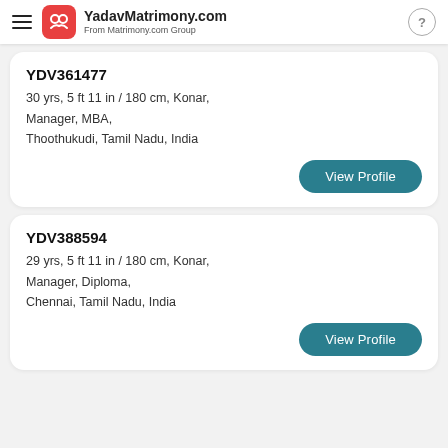YadavMatrimony.com — From Matrimony.com Group
YDV361477
30 yrs, 5 ft 11 in / 180 cm, Konar,
Manager, MBA,
Thoothukudi, Tamil Nadu, India
View Profile
YDV388594
29 yrs, 5 ft 11 in / 180 cm, Konar,
Manager, Diploma,
Chennai, Tamil Nadu, India
View Profile